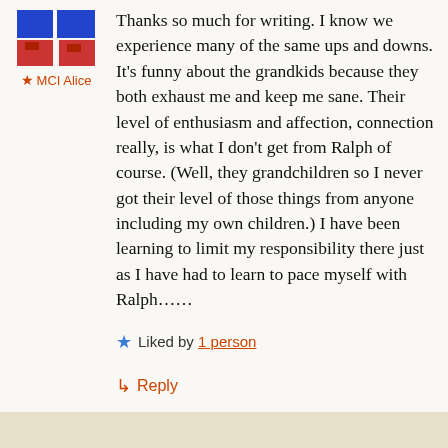[Figure (illustration): Avatar thumbnail image with geometric blue/red pattern]
★ MCI Alice
Thanks so much for writing. I know we experience many of the same ups and downs. It's funny about the grandkids because they both exhaust me and keep me sane. Their level of enthusiasm and affection, connection really, is what I don't get from Ralph of course. (Well, they grandchildren so I never got their level of those things from anyone including my own children.) I have been learning to limit my responsibility there just as I have had to learn to pace myself with Ralph……
★ Liked by 1 person
↳ Reply